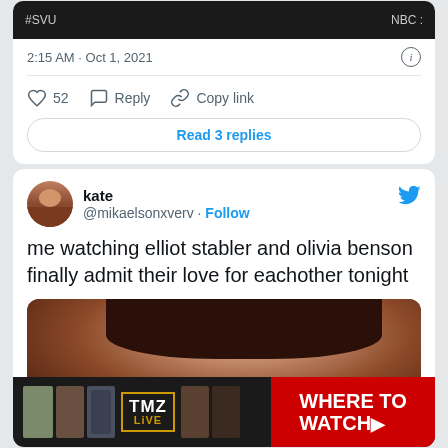[Figure (screenshot): Partial tweet card showing video thumbnail with #SVU and NBC labels, timestamp 2:15 AM · Oct 1, 2021, with 52 likes, Reply, Copy link actions, and a Read 3 replies button]
2:15 AM · Oct 1, 2021
52   Reply   Copy link
Read 3 replies
kate
@mikaelsonxverv · Follow
me watching elliot stabler and olivia benson finally admit their love for eachother tonight
[Figure (photo): Close-up photo of a person with dark hair]
[Figure (screenshot): TMZ Live banner advertisement with WHERE TO WATCH text on red background]